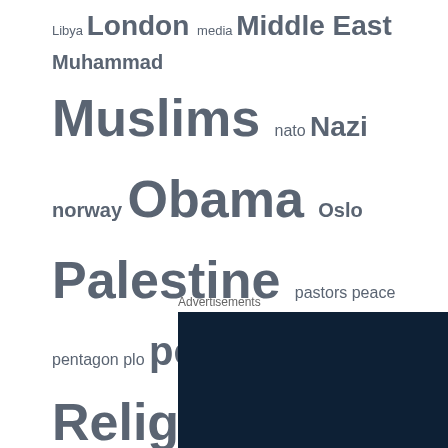Libya London media Middle East Muhammad Muslims nato Nazi norway Obama Oslo Palestine pastors peace pentagon plo pope Religion rome russia Samaria Saudi Arabia sweden syria Tehran terror terrorism theology Turkey UK UN us usa Vatican war washington Zion Zionism
Advertisements
[Figure (logo): Dark navy blue advertisement banner with 'Built By' text and WordPress logo icon in white]